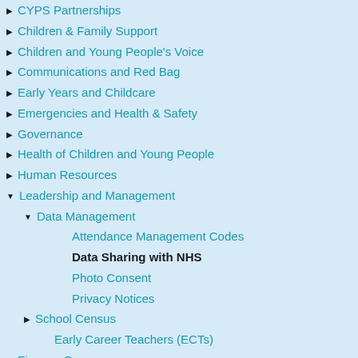CYPS Partnerships
Children & Family Support
Children and Young People's Voice
Communications and Red Bag
Early Years and Childcare
Emergencies and Health & Safety
Governance
Health of Children and Young People
Human Resources
Leadership and Management
Data Management
Attendance Management Codes
Data Sharing with NHS
Photo Consent
Privacy Notices
School Census
Early Career Teachers (ECTs)
Finance Governance
Information Governance for Schools
Insurance